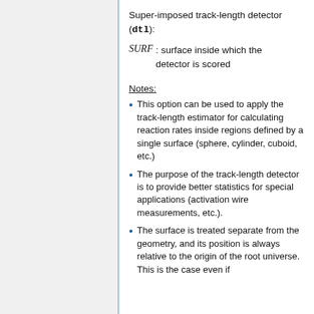Super-imposed track-length detector (dtl):
SURF : surface inside which the detector is scored
Notes:
This option can be used to apply the track-length estimator for calculating reaction rates inside regions defined by a single surface (sphere, cylinder, cuboid, etc.)
The purpose of the track-length detector is to provide better statistics for special applications (activation wire measurements, etc.).
The surface is treated separate from the geometry, and its position is always relative to the origin of the root universe. This is the case even if